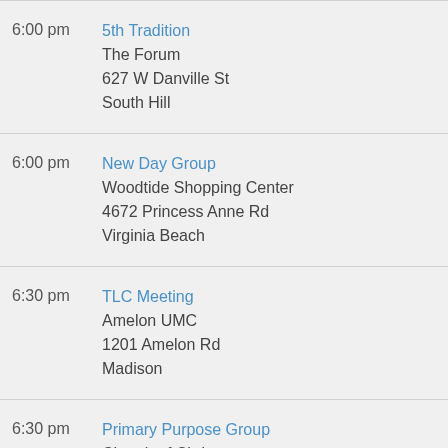6:00 pm | 5th Tradition | The Forum | 627 W Danville St | South Hill
6:00 pm | New Day Group | Woodtide Shopping Center | 4672 Princess Anne Rd | Virginia Beach
6:30 pm | TLC Meeting | Amelon UMC | 1201 Amelon Rd | Madison
6:30 pm | Primary Purpose Group | Church of Christ | 2115 Daniels Creek Rd | Collinsville